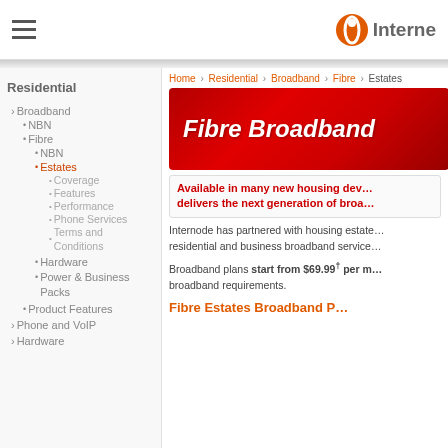Internode — navigation header with hamburger menu and logo
Residential
Broadband
NBN
Fibre
NBN
Estates (active)
Coverage
Features
Performance
Phone Services
Terms and Conditions
Hardware
Power & Business Packs
Product Features
Phone and VoIP
Hardware
Home › Residential › Broadband › Fibre › Estates
[Figure (illustration): Red gradient banner with white italic bold text reading 'Fibre Broadband']
Available in many new housing dev… delivers the next generation of broa…
Internode has partnered with housing estate… residential and business broadband service…
Broadband plans start from $69.99† per m… broadband requirements.
Fibre Estates Broadband P…